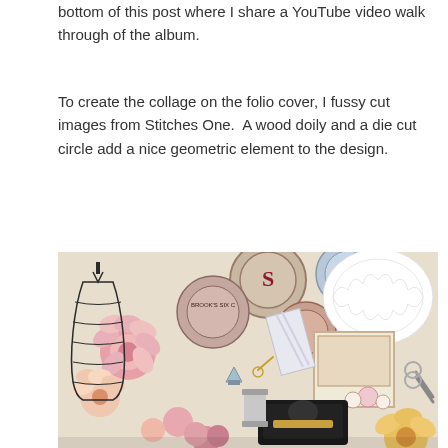bottom of this post where I share a YouTube video walk through of the album.
To create the collage on the folio cover, I fussy cut images from Stitches One.  A wood doily and a die cut circle add a nice geometric element to the design.
[Figure (photo): A detailed scrapbook collage folio cover featuring sewing and craft themed elements: paper flowers in pink and peach, a wire birdcage dress form, vintage sewing thread spools, a black sewing machine, scissors, buttons, a white lace doily, and decorative circular labels with sewing-related text including 'S', 'BARBOUR'S', 'BROOK'S SIX C'. The composition is richly layered with mixed media elements on a vintage patterned background.]